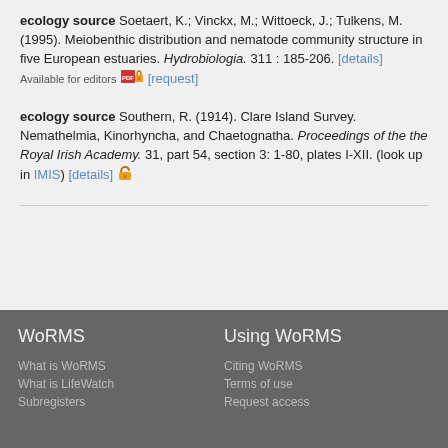ecology source Soetaert, K.; Vinckx, M.; Wittoeck, J.; Tulkens, M. (1995). Meiobenthic distribution and nematode community structure in five European estuaries. Hydrobiologia. 311 : 185-206. [details]  Available for editors [request]
ecology source Southern, R. (1914). Clare Island Survey. Nemathelmia, Kinorhyncha, and Chaetognatha. Proceedings of the the Royal Irish Academy. 31, part 54, section 3: 1-80, plates I-XII. (look up in IMIS) [details]
WoRMS
Using WoRMS
What is WoRMS
What is LifeWatch
Subregisters
Citing WoRMS
Terms of use
Request access